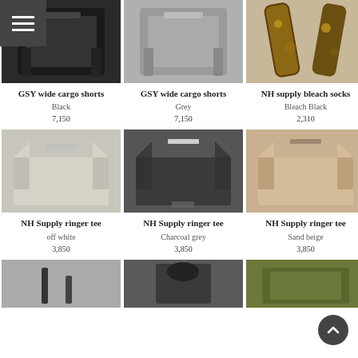[Figure (photo): GSY wide cargo shorts in Black - product photo from above]
GSY wide cargo shorts
Black
7,150
[Figure (photo): GSY wide cargo shorts in Grey - product photo from above]
GSY wide cargo shorts
Grey
7,150
[Figure (photo): NH supply bleach socks in Bleach Black - product photo]
NH supply bleach socks
Bleach Black
2,310
[Figure (photo): NH Supply ringer tee in off white - product photo]
NH Supply ringer tee
off white
3,850
[Figure (photo): NH Supply ringer tee in Charcoal grey - product photo]
NH Supply ringer tee
Charcoal grey
3,850
[Figure (photo): NH Supply ringer tee in Sand beige - product photo]
NH Supply ringer tee
Sand beige
3,850
[Figure (photo): Partial product photo bottom row left]
[Figure (photo): Partial product photo bottom row center]
[Figure (photo): Partial product photo bottom row right]